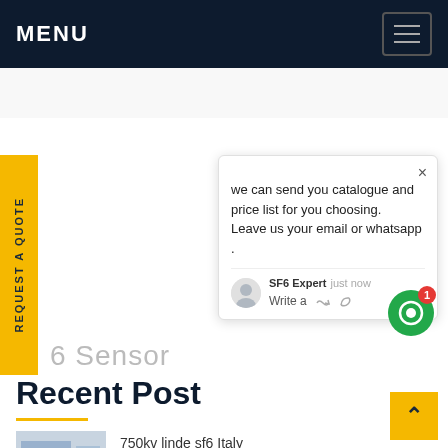MENU
REQUEST A QUOTE
we can send you catalogue and price list for you choosing.
Leave us your email or whatsapp .
SF6 Expert  just now
Write a
Recent Post
750kv linde sf6 Italy